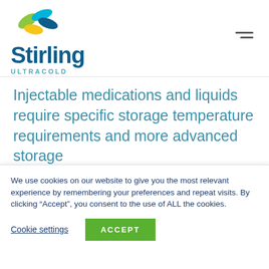[Figure (logo): Stirling Ultracold logo: stylized flower with green, yellow, and teal-blue leaves above the word 'Stirling' in bold dark blue, with 'ULTRACOLD' in small teal letters below]
Injectable medications and liquids require specific storage temperature requirements and more advanced storage
We use cookies on our website to give you the most relevant experience by remembering your preferences and repeat visits. By clicking “Accept”, you consent to the use of ALL the cookies.
Cookie settings
ACCEPT